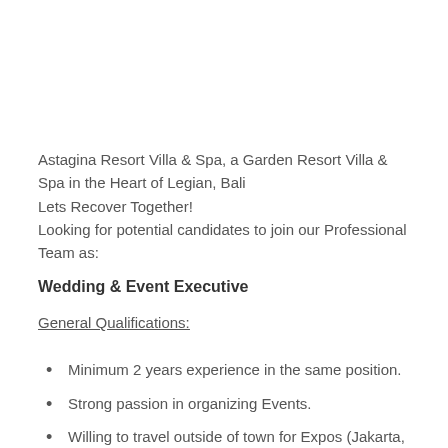Astagina Resort Villa & Spa, a Garden Resort Villa & Spa in the Heart of Legian, Bali
Lets Recover Together!
Looking for potential candidates to join our Professional Team as:
Wedding & Event Executive
General Qualifications:
Minimum 2 years experience in the same position.
Strong passion in organizing Events.
Willing to travel outside of town for Expos (Jakarta, Bandung, Surabaya, etc).